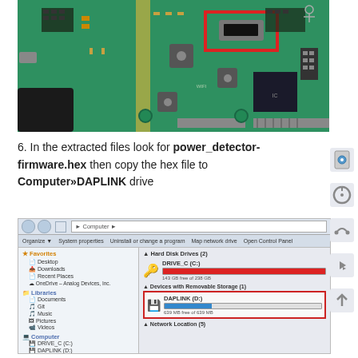[Figure (photo): Photo of a green PCB circuit board with a red rectangle highlighting a USB/connector port area in the upper center of the board.]
6. In the extracted files look for power_detector-firmware.hex then copy the hex file to Computer»DAPLINK drive
[Figure (screenshot): Screenshot of Windows Explorer showing Computer view with hard disk drives including DRIVE_C and DAPLINK (D:) drive highlighted with a red rectangle border.]